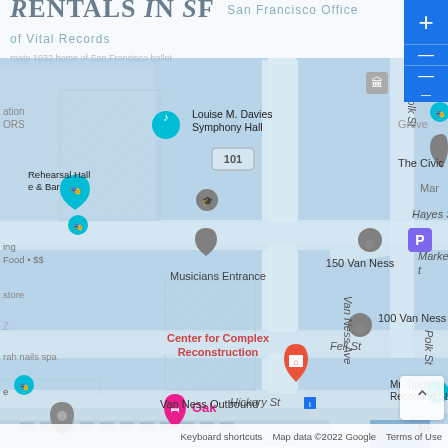[Figure (map): Google Maps screenshot showing the area around Van Ness Ave and Fell St in San Francisco. Landmarks include Louise M. Davies Symphony Hall, Musicians Entrance, Center for Complex Reconstruction, 150 Van Ness, 100 Van Ness, Mr. Tipple's Recording Studio, Oak, Van Ness Outbound transit stop. Streets visible: Polk St, Hayes St, Market St, Fell St, Hickory St, Van Ness Ave. Map data ©2022 Google.]
Rentals In SF — San Francisco Office of Vital Records
Keyboard shortcuts   Map data ©2022 Google   Terms of Use